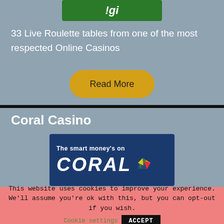[Figure (logo): Green casino logo with white italic text partially visible]
33 Live Roulette tables from one of the most respected Online Casinos
[Figure (other): Yellow rounded button with text 'Read More']
Coral Casino
[Figure (logo): Coral Casino logo: dark blue background, white bold text 'The smart money's on CORAL' with multicolour bird graphic]
This website uses cookies to improve your experience. We'll assume you're ok with this, but you can opt-out if you wish.
Cookie settings
ACCEPT